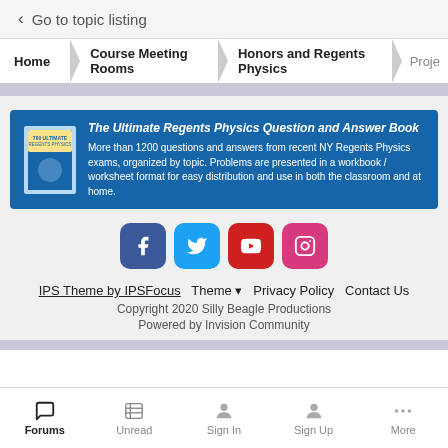< Go to topic listing
Home > Course Meeting Rooms > Honors and Regents Physics > Proje
[Figure (infographic): Ad banner for The Ultimate Regents Physics Question and Answer Book. Blue background with book cover image on left. Title in italic bold white text. Description text below in white.]
[Figure (infographic): Row of four social media buttons: Facebook (dark blue), Twitter (light blue), YouTube (red), Instagram (pink).]
IPS Theme by IPSFocus   Theme ▼   Privacy Policy   Contact Us
Copyright 2020 Silly Beagle Productions
Powered by Invision Community
Forums   Unread   Sign In   Sign Up   More